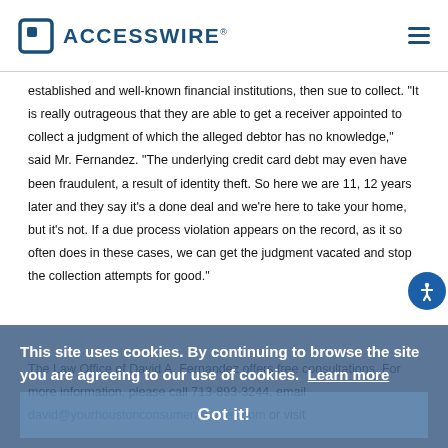ACCESSWIRE
established and well-known financial institutions, then sue to collect. "It is really outrageous that they are able to get a receiver appointed to collect a judgment of which the alleged debtor has no knowledge," said Mr. Fernandez. "The underlying credit card debt may even have been fraudulent, a result of identity theft. So here we are 11, 12 years later and they say it's a done deal and we're here to take your home, but it's not. If a due process violation appears on the record, as it so often does in these cases, we can get the judgment vacated and stop the collection attempts for good."
The Law Office of David A. Fernandez offers free consultations. For more information, please call 713-893-3244, email david@yourhoustonconsumerattorney.com or visit
This site uses cookies. By continuing to browse the site you are agreeing to our use of cookies. Learn more
Got it!